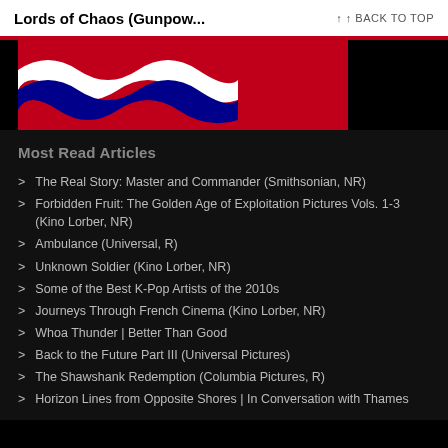Lords of Chaos (Gunpow...  ↑ BACK TO TOP
[Figure (photo): Banner image with red background and partial flag graphic (white and blue wavy stripe pattern) on the left side against black background]
Most Read Articles
The Real Story: Master and Commander (Smithsonian, NR)
Forbidden Fruit: The Golden Age of Exploitation Pictures Vols. 1-3 (Kino Lorber, NR)
Ambulance (Universal, R)
Unknown Soldier (Kino Lorber, NR)
Some of the Best K-Pop Artists of the 2010s
Journeys Through French Cinema (Kino Lorber, NR)
Whoa Thunder | Better Than Good
Back to the Future Part III (Universal Pictures)
The Shawshank Redemption (Columbia Pictures, R)
Horizon Lines from Opposite Shores | In Conversation with Thames